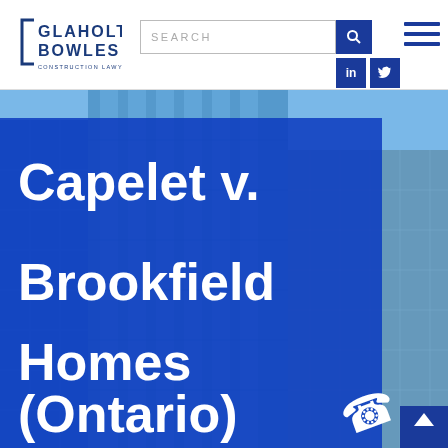[Figure (logo): Glaholt Bowles Construction Lawyers logo in blue]
[Figure (screenshot): Search bar with blue search button, LinkedIn and Twitter social icons, hamburger menu]
[Figure (photo): Background photo of glass skyscraper buildings with blue sky, with blue semi-transparent overlay containing white bold text]
Capelet v. Brookfield Homes (Ontario) Limited